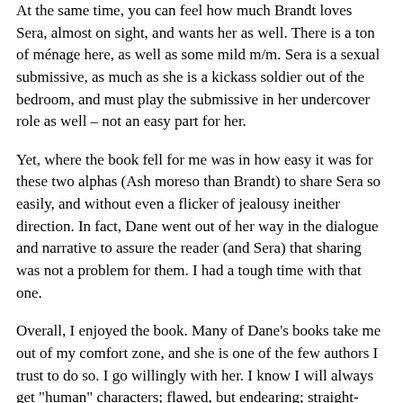At the same time, you can feel how much Brandt loves Sera, almost on sight, and wants her as well. There is a ton of ménage here, as well as some mild m/m. Sera is a sexual submissive, as much as she is a kickass soldier out of the bedroom, and must play the submissive in her undercover role as well – not an easy part for her.
Yet, where the book fell for me was in how easy it was for these two alphas (Ash moreso than Brandt) to share Sera so easily, and without even a flicker of jealousy ineither direction. In fact, Dane went out of her way in the dialogue and narrative to assure the reader (and Sera) that sharing was not a problem for them. I had a tough time with that one.
Overall, I enjoyed the book. Many of Dane's books take me out of my comfort zone, and she is one of the few authors I trust to do so. I go willingly with her. I know I will always get "human" characters; flawed, but endearing; straight-talking, but not unattractively so; and an involving story, with a defined beginning, middle, and end. I never feel cheated reading a Dane book. This one was definitely outside my comfort zone – not because of the ménage, the (very mild) BDSM, or even the (again, very mild) m/m, but for the setting